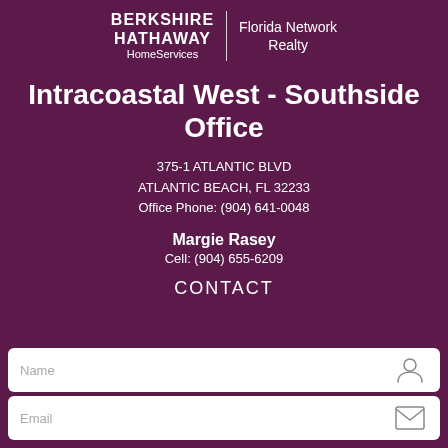[Figure (logo): Berkshire Hathaway HomeServices | Florida Network Realty logo with white text on purple background and vertical divider]
Intracoastal West - Southside Office
375-1 ATLANTIC BLVD
ATLANTIC BEACH, FL 32233
Office Phone: (904) 641-0048
Margie Rasey
Cell: (904) 655-6209
CONTACT
Name
Email